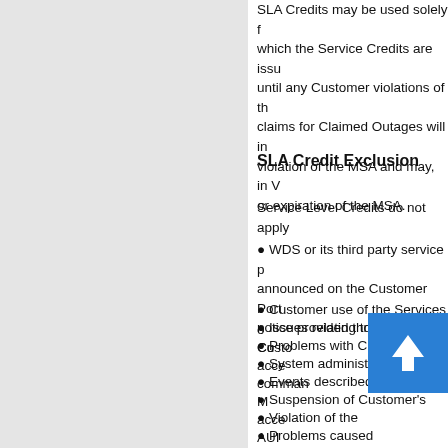SLA Credits may be used solely for which the Service Credits are issu until any Customer violations of th claims for Claimed Outages will in violation of the MSA and may, in V or expiration of the MSA.
SLA Credit Exclusion
Service Level Credits do not apply
WDS or its third party service p announced on the Customer Port notice provided through the Custo
Customer use of the Services o
Issues relating to Customer Co
Problems with Customer's acce
System administration, comman
Events described in the Force M
Suspension of Customer's acce
Violation of the AUI
Problems caused Customer or any Cu
Problems arising fr
Special Obligations relating to Ha efforts to replace failed hardware